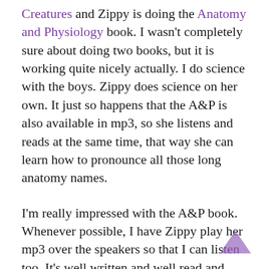Creatures and Zippy is doing the Anatomy and Physiology book. I wasn't completely sure about doing two books, but it is working quite nicely actually. I do science with the boys. Zippy does science on her own. It just so happens that the A&P is also available in mp3, so she listens and reads at the same time, that way she can learn how to pronounce all those long anatomy names.
I'm really impressed with the A&P book. Whenever possible, I have Zippy play her mp3 over the speakers so that I can listen too. It's well written and well read and very informative. Anyway, Zippy, the girl who dreams on a daily basis of when she will be a nurse, is loving the course.
Here are a couple of the recent projects that Zippy did for her science. Zippy was quite